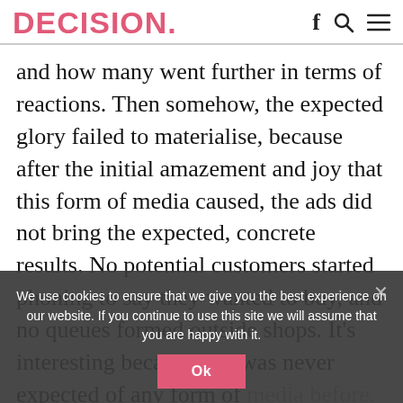DECISION.
and how many went further in terms of reactions. Then somehow, the expected glory failed to materialise, because after the initial amazement and joy that this form of media caused, the ads did not bring the expected, concrete results. No potential customers started phoning to say they wanted to buy, and no queues formed outside shops. It’s interesting because this was never expected of any form of media before. They promised, of course, trust was not helped when Facebook, for example, started filtering out redundant, fake, or dormant
We use cookies to ensure that we give you the best experience on our website. If you continue to use this site we will assume that you are happy with it.